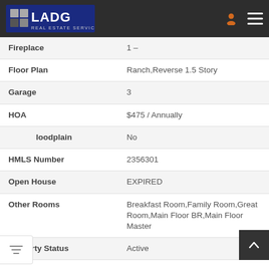LADG REAL ESTATE SERVICES
| Field | Value |
| --- | --- |
| Fireplace | 1 – |
| Floor Plan | Ranch,Reverse 1.5 Story |
| Garage | 3 |
| HOA | $475 / Annually |
| Floodplain | No |
| HMLS Number | 2356301 |
| Open House | EXPIRED |
| Other Rooms | Breakfast Room,Family Room,Great Room,Main Floor BR,Main Floor Master |
| Property Status | Active |